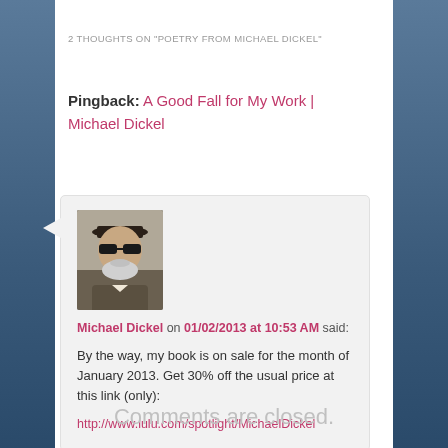2 THOUGHTS ON “POETRY FROM MICHAEL DICKEL”
Pingback: A Good Fall for My Work | Michael Dickel
Michael Dickel on 01/02/2013 at 10:53 AM said:
By the way, my book is on sale for the month of January 2013. Get 30% off the usual price at this link (only):
http://www.lulu.com/spotlight/MichaelDickel
Comments are closed.